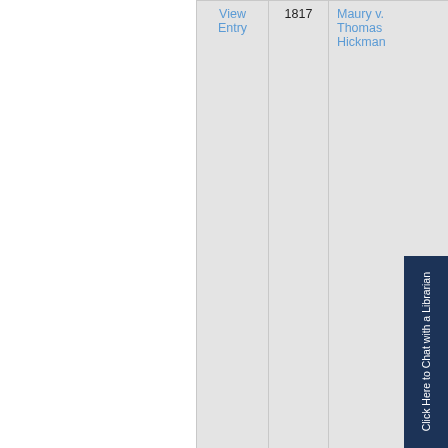|  | Year | Case Name |
| --- | --- | --- |
| View Entry | 1817 | Maury v. Thomas Hickman |
| View Entry | 1852 | Allen Kn... v. Charle... M. Bidw... al. |
|  |  |  |